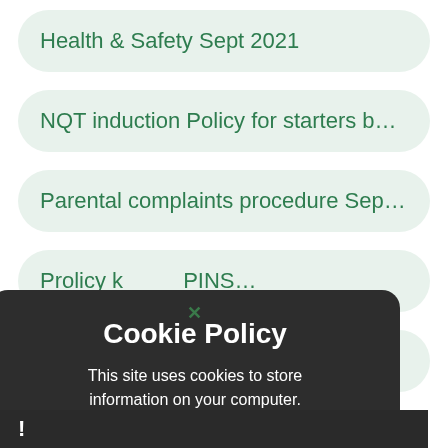Health & Safety Sept 2021
NQT induction Policy for starters befo...
Parental complaints procedure Sept...
P... olicy k PINS S...
ORMATIO...
[Figure (screenshot): Cookie Policy modal dialog overlay with dark background. Title: 'Cookie Policy'. Body text: 'This site uses cookies to store information on your computer. Click here for more information'. Two green buttons: 'Allow Cookies' and 'Deny Cookies'. Green X close button at top.]